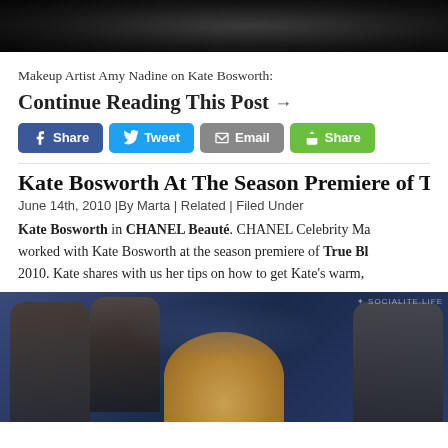[Figure (photo): Dark/black top portion of an image, partially cropped]
Makeup Artist Amy Nadine on Kate Bosworth:
Continue Reading This Post →
[Figure (other): Social share buttons: Share (Facebook), Tweet (Twitter), Email, Share (generic green button)]
Kate Bosworth At The Season Premiere of Tru[e Blood]
June 14th, 2010 |By Marta | Related | Filed Under
Kate Bosworth in CHANEL Beauté. CHANEL Celebrity Ma[keup Artist Amy Nadine] worked with Kate Bosworth at the season premiere of True Bl[ood] 2010. Kate shares with us her tips on how to get Kate's warm,
[Figure (photo): Photo from True Blood season premiere showing actors with blonde woman (Kate Bosworth) in foreground, socialite.life watermark]